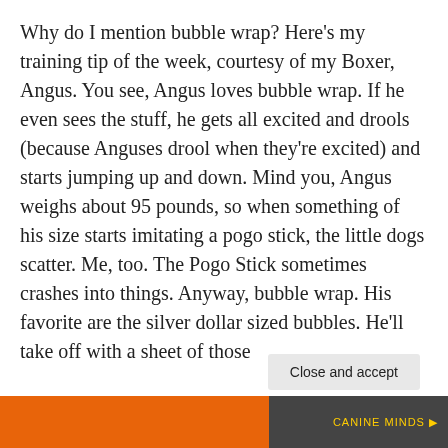Why do I mention bubble wrap?  Here’s my training tip of the week, courtesy of my Boxer, Angus.  You see, Angus loves bubble wrap.  If he even sees the stuff, he gets all excited and drools (because Anguses drool when they’re excited) and starts jumping up and down.  Mind you, Angus weighs about 95 pounds, so when something of his size starts imitating a pogo stick, the little dogs scatter.  Me, too.  The Pogo Stick sometimes crashes into things.  Anyway, bubble wrap.  His favorite are the silver dollar sized bubbles.  He’ll take off with a sheet of those
Privacy & Cookies: This site uses cookies. By continuing to use this website, you agree to their use.
To find out more, including how to control cookies, see here: Cookie Policy